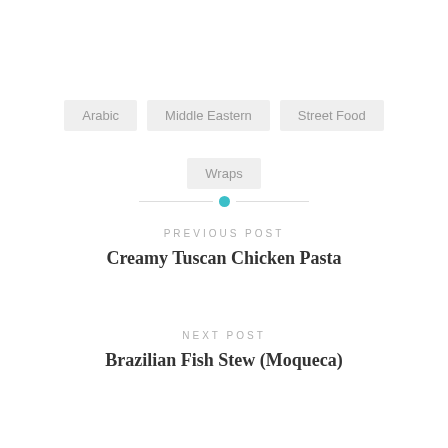Arabic
Middle Eastern
Street Food
Wraps
PREVIOUS POST
Creamy Tuscan Chicken Pasta
NEXT POST
Brazilian Fish Stew (Moqueca)